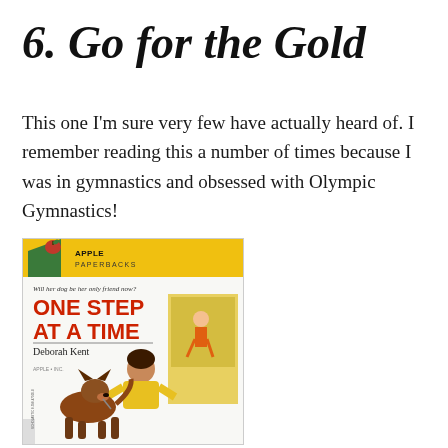6. Go for the Gold
This one I'm sure very few have actually heard of.  I remember reading this a number of times because I was in gymnastics and obsessed with Olympic Gymnastics!
[Figure (illustration): Book cover of 'One Step at a Time' by Deborah Kent, published by Apple Paperbacks. Features a yellow banner header with apple logo and 'APPLE PAPERBACKS' text. Tagline reads 'Will her dog be her only friend now?' The title 'ONE STEP AT A TIME' is shown in large red bold text. Author name 'Deborah Kent' appears below. Cover illustration shows a girl in a yellow jacket with a German Shepherd dog, and a background scene with another figure.]